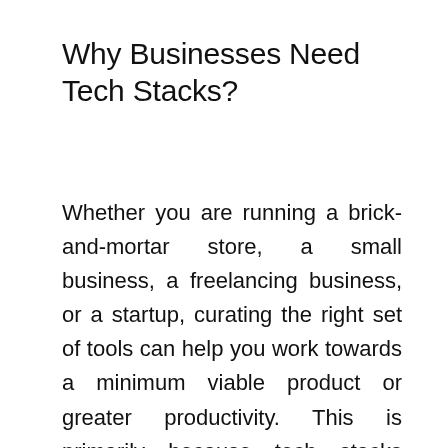Why Businesses Need Tech Stacks?
Whether you are running a brick-and-mortar store, a small business, a freelancing business, or a startup, curating the right set of tools can help you work towards a minimum viable product or greater productivity. This is primarily because tech stacks constitute the “digital structure” behind your organization, and in most